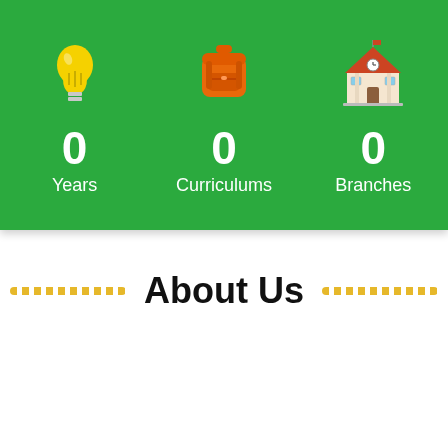[Figure (infographic): Green banner with three stats: 0 Years (light bulb icon), 0 Curriculums (backpack icon), 0 Branches (school building icon)]
About Us